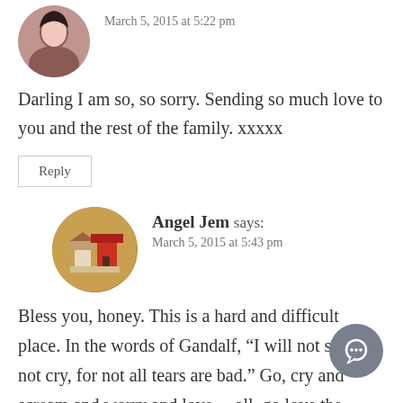[Figure (photo): Circular avatar photo of a woman with dark hair]
March 5, 2015 at 5:22 pm
Darling I am so, so sorry. Sending so much love to you and the rest of the family. xxxxx
Reply
[Figure (photo): Circular avatar photo showing a small decorative house scene]
Angel Jem says:
March 5, 2015 at 5:43 pm
Bless you, honey. This is a hard and difficult place. In the words of Gandalf, “I will not say do not cry, for not all tears are bad.” Go, cry and scream and worry and love.... all, go love the people who are left. Go hug Finley and her Dad. And scream at us when you are able, and bring us